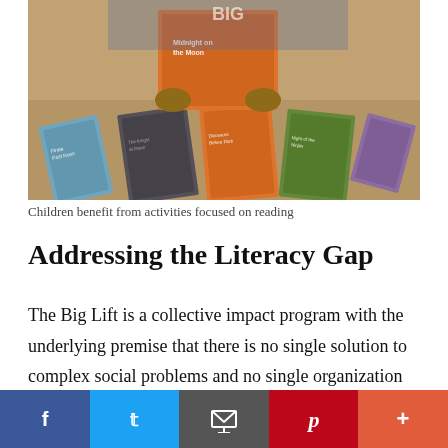[Figure (photo): A child holding up a Magic Tree House book over a desk covered with several other children's books including Magic Tree House series titles]
Children benefit from activities focused on reading
Addressing the Literacy Gap
The Big Lift is a collective impact program with the underlying premise that there is no single solution to complex social problems and no single organization alone can create large-scale, lasting